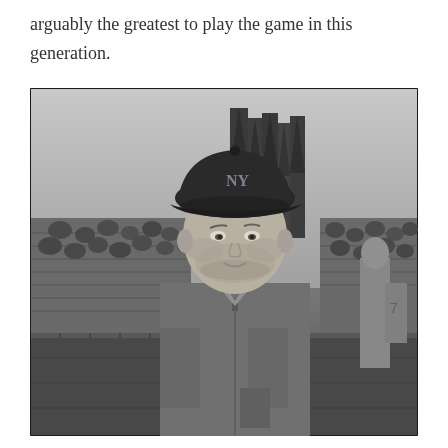arguably the greatest to play the game in this generation.
[Figure (photo): Black and white photograph of a man wearing a New York Mets baseball cap and a zip-up jacket, standing in front of a crowd in bleachers with tall trees visible in the background.]